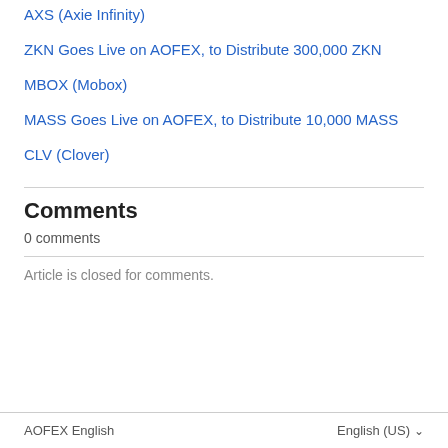AXS (Axie Infinity)
ZKN Goes Live on AOFEX, to Distribute 300,000 ZKN
MBOX (Mobox)
MASS Goes Live on AOFEX, to Distribute 10,000 MASS
CLV (Clover)
Comments
0 comments
Article is closed for comments.
AOFEX English    English (US)